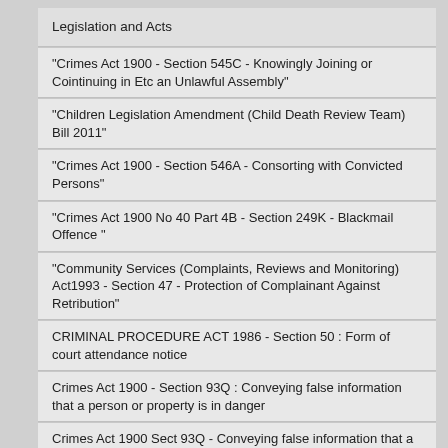Legislation and Acts
"Crimes Act 1900 - Section 545C - Knowingly Joining or Cointinuing in Etc an Unlawful Assembly"
"Children Legislation Amendment (Child Death Review Team) Bill 2011"
"Crimes Act 1900 - Section 546A - Consorting with Convicted Persons"
"Crimes Act 1900 No 40 Part 4B - Section 249K - Blackmail Offence "
"Community Services (Complaints, Reviews and Monitoring) Act1993 - Section 47 - Protection of Complainant Against Retribution"
CRIMINAL PROCEDURE ACT 1986 - Section 50 : Form of court attendance notice
Crimes Act 1900 - Section 93Q : Conveying false information that a person or property is in danger
Crimes Act 1900 Sect 93Q - Conveying false information that a person or property is in danger